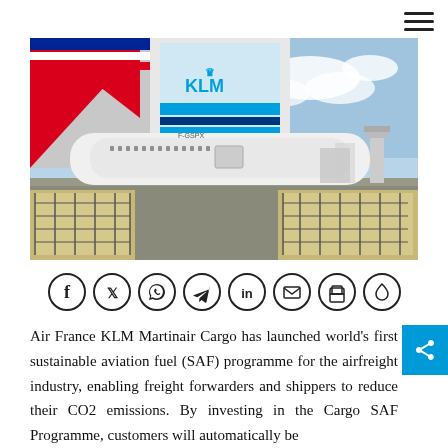[Figure (photo): Air France KLM aircraft tails on tarmac with cargo pallets loaded in foreground, Air France red tail and KLM blue tail visible, aircraft registration F-GSPX, airport control tower in background]
[Figure (infographic): Row of social sharing icons in circles: Facebook, Twitter, WhatsApp, Telegram, LinkedIn, Email, Print, Water-drop/share]
Air France KLM Martinair Cargo has launched world's first sustainable aviation fuel (SAF) programme for the airfreight industry, enabling freight forwarders and shippers to reduce their CO2 emissions. By investing in the Cargo SAF Programme, customers will automatically be